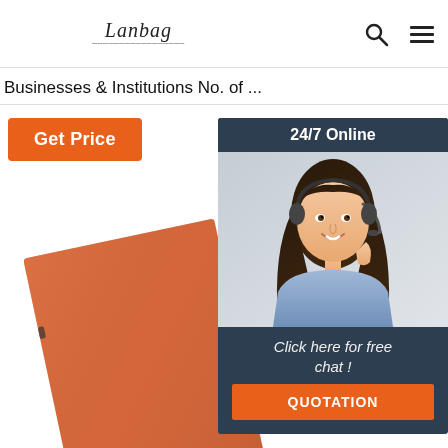Lanbag [logo with tagline]
Businesses & Institutions No. of ...
Get Price
[Figure (photo): Customer service representative woman wearing a headset, smiling, with '24/7 Online' header, 'Click here for free chat!' text, and an orange QUOTATION button]
[Figure (photo): An orange/terracotta colored notebook or folder shown at an angle on a white background]